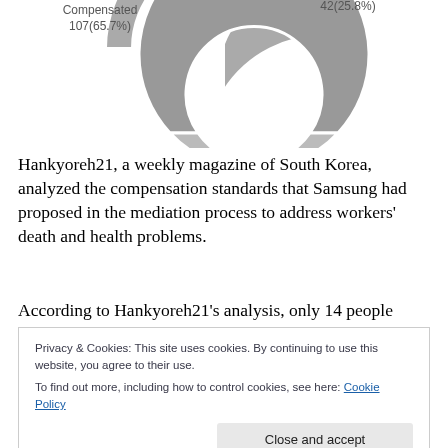[Figure (donut-chart): Compensation outcomes]
Hankyoreh21, a weekly magazine of South Korea, analyzed the compensation standards that Samsung had proposed in the mediation process to address workers' death and health problems.
According to Hankyoreh21's analysis, only 14 people (8.5%) of the 163 victims absolutely met Samsung's compensation standards. If a variety of provisory clauses
Privacy & Cookies: This site uses cookies. By continuing to use this website, you agree to their use.
To find out more, including how to control cookies, see here: Cookie Policy